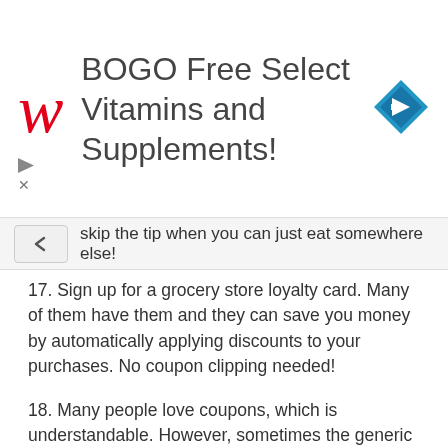[Figure (screenshot): Walgreens advertisement banner: BOGO Free Select Vitamins and Supplements! with Walgreens cursive W logo and blue diamond navigation icon]
skip the tip when you can just eat somewhere else!
17. Sign up for a grocery store loyalty card. Many of them have them and they can save you money by automatically applying discounts to your purchases. No coupon clipping needed!
18. Many people love coupons, which is understandable. However, sometimes the generic version is still cheaper than the discounted price of something main brand.
19. Don't be afraid to check out store brand food if it is cheaper. Usually, the store brand is made with the exact same ingredients as the more expensive, main brand stuff.